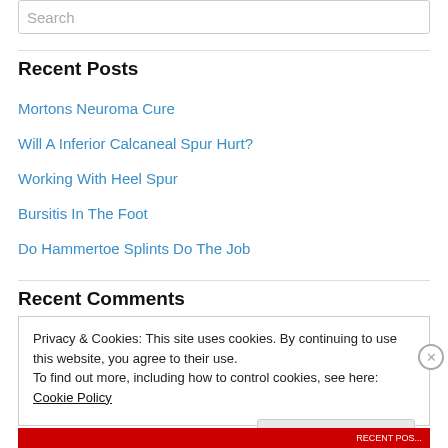Search
Recent Posts
Mortons Neuroma Cure
Will A Inferior Calcaneal Spur Hurt?
Working With Heel Spur
Bursitis In The Foot
Do Hammertoe Splints Do The Job
Recent Comments
Privacy & Cookies: This site uses cookies. By continuing to use this website, you agree to their use. To find out more, including how to control cookies, see here: Cookie Policy
Close and accept